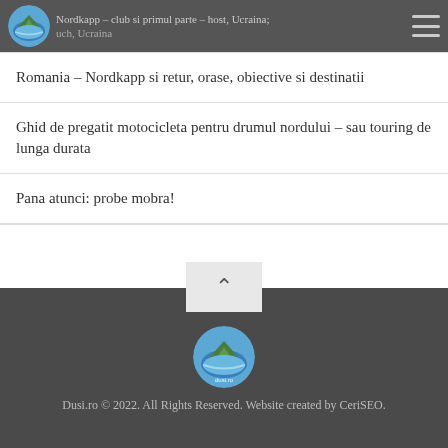Nordkapp – club si primul parte – host, Ucraina
Romania – Nordkapp si retur, orase, obiective si destinatii
Ghid de pregatit motocicleta pentru drumul nordului – sau touring de lunga durata
Pana atunci: probe mobra!
Dusi.ro © 2022. All Rights Reserved. Website created by CeriSEO.